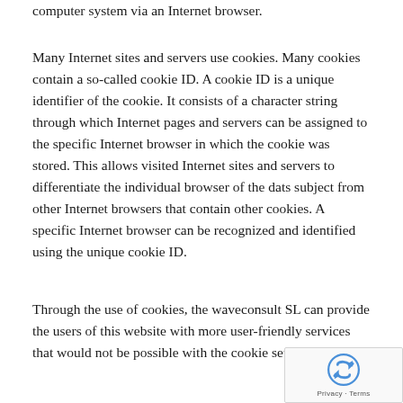computer system via an Internet browser.
Many Internet sites and servers use cookies. Many cookies contain a so-called cookie ID. A cookie ID is a unique identifier of the cookie. It consists of a character string through which Internet pages and servers can be assigned to the specific Internet browser in which the cookie was stored. This allows visited Internet sites and servers to differentiate the individual browser of the dats subject from other Internet browsers that contain other cookies. A specific Internet browser can be recognized and identified using the unique cookie ID.
Through the use of cookies, the waveconsult SL can provide the users of this website with more user-friendly services that would not be possible with the cookie setting.